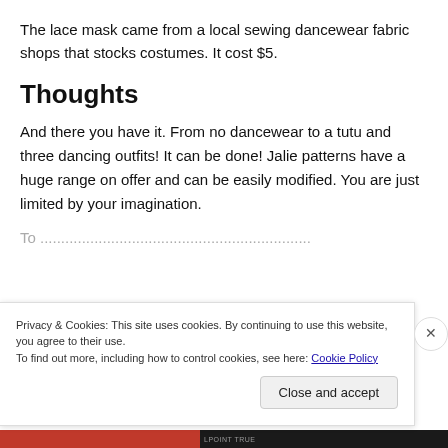The lace mask came from a local sewing dancewear fabric shops that stocks costumes. It cost $5.
Thoughts
And there you have it. From no dancewear to a tutu and three dancing outfits! It can be done! Jalie patterns have a huge range on offer and can be easily modified. You are just limited by your imagination.
(truncated/obscured text)
Privacy & Cookies: This site uses cookies. By continuing to use this website, you agree to their use.
To find out more, including how to control cookies, see here: Cookie Policy
Close and accept